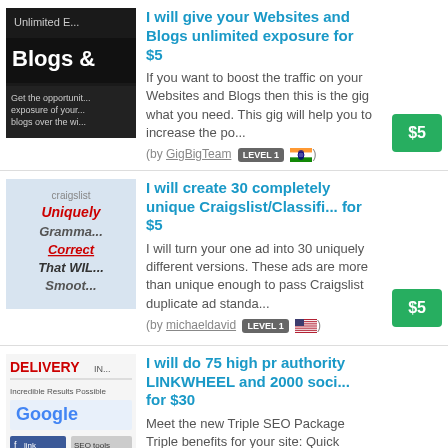[Figure (illustration): Thumbnail image for 'Unlimited Blogs' gig showing dark background with text 'Unlimited E... Blogs &...']
I will give your Websites and Blogs unlimited exposure for $5
If you want to boost the traffic on your Websites and Blogs then this is the gig what you need. This gig will help you to increase the po...
(by GigBigTeam LEVEL 1 [India flag])
[Figure (illustration): Thumbnail showing Craigslist unique ads: 'Uniquely Gramma... Correct That WIL... Smoot']
I will create 30 completely unique Craigslist/Classifi... for $5
I will turn your one ad into 30 uniquely different versions. These ads are more than unique enough to pass Craigslist duplicate ad standa...
(by michaeldavid LEVEL 1 [US flag])
[Figure (illustration): Thumbnail showing DELIVERY logo with Google, drigo and other SEO-related brand images]
I will do 75 high pr authority LINKWHEEL and 2000 soci... for $30
Meet the new Triple SEO Package Triple benefits for your site: Quick Analisys, LinkBuilding and Social Signals. Powerful, Effecti...
(by efe2015 LEVEL 2 [US flag])